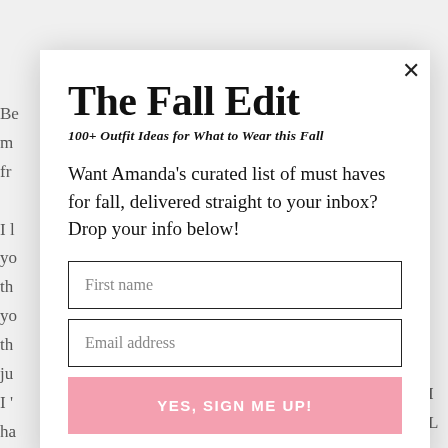The Fall Edit
100+ Outfit Ideas for What to Wear this Fall
Want Amanda's curated list of must haves for fall, delivered straight to your inbox? Drop your info below!
[Figure (screenshot): Email signup form with fields for First name and Email address, and a pink submit button labeled YES, SIGN ME UP!]